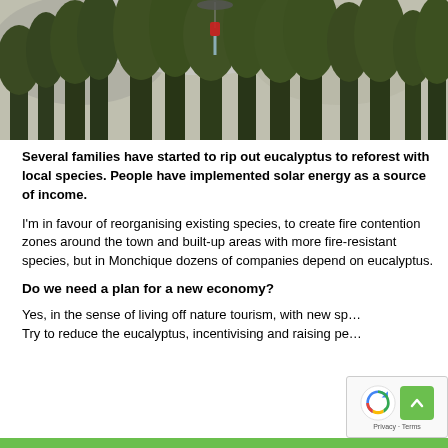[Figure (photo): Aerial firefighting scene with a helicopter dropping water or retardant over tall eucalyptus trees, with smoke visible in the background.]
Several families have started to rip out eucalyptus to reforest with local species. People have implemented solar energy as a source of income.
I'm in favour of reorganising existing species, to create fire contention zones around the town and built-up areas with more fire-resistant species, but in Monchique dozens of companies depend on eucalyptus.
Do we need a plan for a new economy?
Yes, in the sense of living off nature tourism, with new sp... Try to reduce the eucalyptus, incentivising and raising pe...